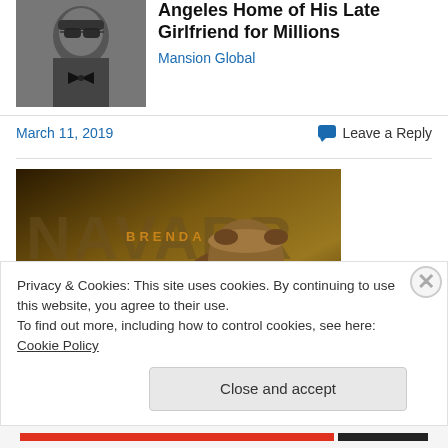[Figure (photo): Black and white photo of a man wearing sunglasses and a bow tie]
Angeles Home of His Late Girlfriend for Millions
Mansion Global
March 11, 2019
Leave a Reply
[Figure (photo): Music album or promotional image for BRENDA NAVARRETE, showing a woman laughing while holding a drum, with large text NAVARRETE in the background]
Privacy & Cookies: This site uses cookies. By continuing to use this website, you agree to their use.
To find out more, including how to control cookies, see here: Cookie Policy